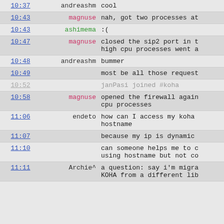| time | nick | message |
| --- | --- | --- |
| 10:37 | andreashm | cool |
| 10:43 | magnuse | nah, got two processes at |
| 10:43 | ashimema | :( |
| 10:47 | magnuse | closed the sip2 port in t high cpu processes went a |
| 10:48 | andreashm | bummer |
| 10:49 |  | most be all those request |
| 10:52 |  | janPasi joined #koha |
| 10:58 | magnuse | opened the firewall again cpu processes |
| 11:06 | endeto | how can I access my koha hostname |
| 11:07 |  | because my ip is dynamic |
| 11:10 |  | can someone helps me to c using hostname but not co |
| 11:11 | Archie^ | a question: say i'm migra KOHA from a different lib |